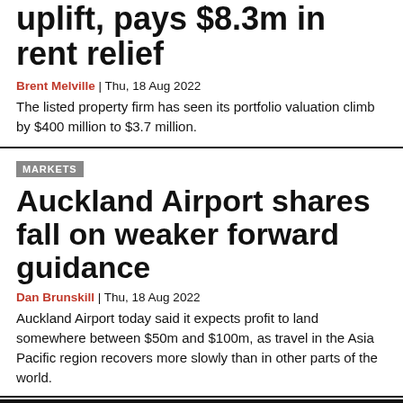uplift, pays $8.3m in rent relief
Brent Melville | Thu, 18 Aug 2022
The listed property firm has seen its portfolio valuation climb by $400 million to $3.7 million.
MARKETS
Auckland Airport shares fall on weaker forward guidance
Dan Brunskill | Thu, 18 Aug 2022
Auckland Airport today said it expects profit to land somewhere between $50m and $100m, as travel in the Asia Pacific region recovers more slowly than in other parts of the world.